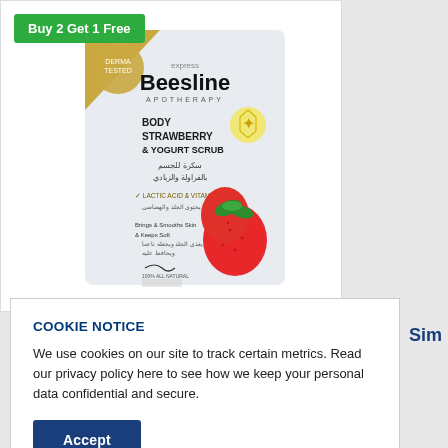Buy 2 Get 1 Free
[Figure (photo): Beesline Express Body Strawberry & Yogurt Scrub product packet with strawberries illustration]
COOKIE NOTICE
We use cookies on our site to track certain metrics. Read our privacy policy here to see how we keep your personal data confidential and secure.
Accept